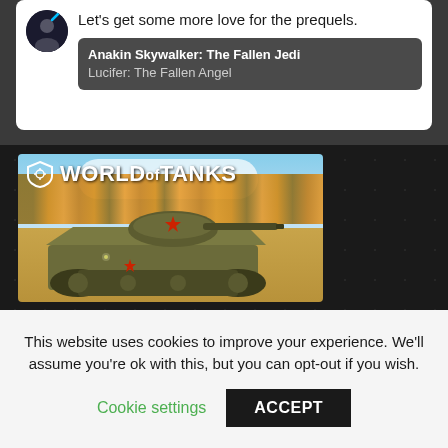Let's get some more love for the prequels.
Anakin Skywalker: The Fallen Jedi
Lucifer: The Fallen Angel
[Figure (screenshot): World of Tanks advertisement showing a Soviet tank (T-70 or similar) in a field with autumn trees and sky background, with the World of Tanks logo in the top left]
This website uses cookies to improve your experience. We'll assume you're ok with this, but you can opt-out if you wish.
Cookie settings
ACCEPT